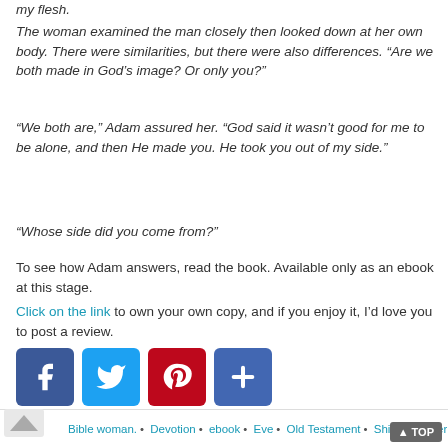my flesh.
The woman examined the man closely then looked down at her own body. There were similarities, but there were also differences. “Are we both made in God’s image? Or only you?”
“We both are,” Adam assured her. “God said it wasn’t good for me to be alone, and then He made you. He took you out of my side.”
“Whose side did you come from?”
To see how Adam answers, read the book. Available only as an ebook at this stage.
Click on the link to own your own copy, and if you enjoy it, I’d love you to post a review.
[Figure (infographic): Social media sharing buttons: Facebook (blue), Twitter (light blue), Pinterest (red), and a share/plus button (dark blue)]
Bible woman. • Devotion • ebook • Eve • Old Testament • Shirley Corder